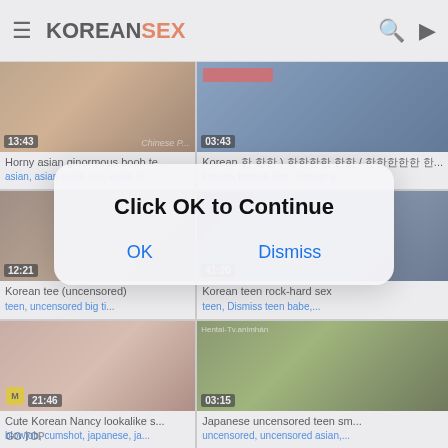KOREANSEX
[Figure (screenshot): Video thumbnail row 1 left - duration 13:43]
Horny asian ginormous boob te...
asian, asian asian ass, asian te...
[Figure (screenshot): Video thumbnail row 1 right - duration 03:43]
Korean 한 한한 ) 한한한한 한한 / 한한한한한 한...
korean, korean teen, korean a...
[Figure (screenshot): Video thumbnail row 2 left - duration 12:21]
Korean tee (uncensored)
teen, uncensored, big ti...
[Figure (screenshot): Video thumbnail row 2 right - duration 41:20]
Korean teen rock-hard sex
teen, Dismiss teen babe,...
[Figure (screenshot): Video thumbnail row 3 left - duration 21:46]
Cute Korean Nancy lookalike s...
blowjob, cumshot, japanese, ja...
[Figure (screenshot): Video thumbnail row 3 right - duration 03:15]
Japanese uncensored teen sm...
uncensored, uncensored asian,...
[Figure (other): Click OK to Continue dialog overlay with OK and Dismiss buttons]